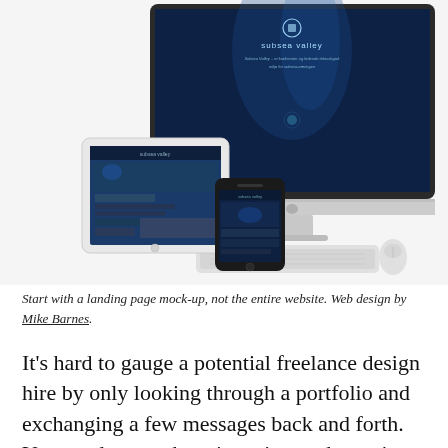[Figure (screenshot): Mockup showing a website called 'subsea valley' displayed on an iMac desktop monitor, a tablet (iPad), and a smartphone. The desktop screen shows a deep blue underwater-themed website. The tablet and phone show the same website in responsive layouts. A keyboard and mouse are visible in front of the iMac.]
Start with a landing page mock-up, not the entire website. Web design by Mike Barnes.
It's hard to gauge a potential freelance design hire by only looking through a portfolio and exchanging a few messages back and forth. You need to see them in action to determine whether or not their communication and